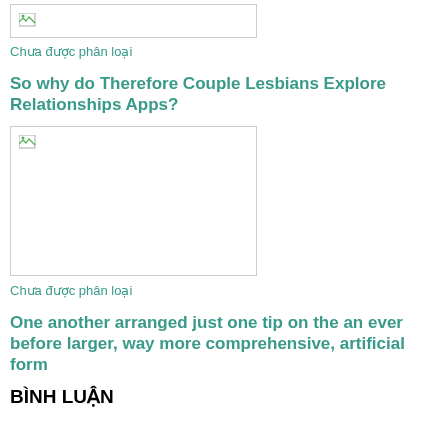[Figure (photo): Image placeholder with broken image icon, white background with grey border]
Chưa được phân loại
So why do Therefore Couple Lesbians Explore Relationships Apps?
[Figure (photo): Image placeholder with broken image icon, white background with grey border]
Chưa được phân loại
One another arranged just one tip on the an ever before larger, way more comprehensive, artificial form
BÌNH LUẬN